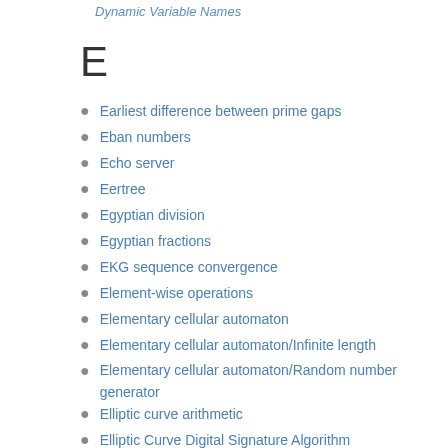Dynamic Variable Names
E
Earliest difference between prime gaps
Eban numbers
Echo server
Eertree
Egyptian division
Egyptian fractions
EKG sequence convergence
Element-wise operations
Elementary cellular automaton
Elementary cellular automaton/Infinite length
Elementary cellular automaton/Random number generator
Elliptic curve arithmetic
Elliptic Curve Digital Signature Algorithm
Emirp primes
Empty directory
Empty program
Empty string
Enforced immutability